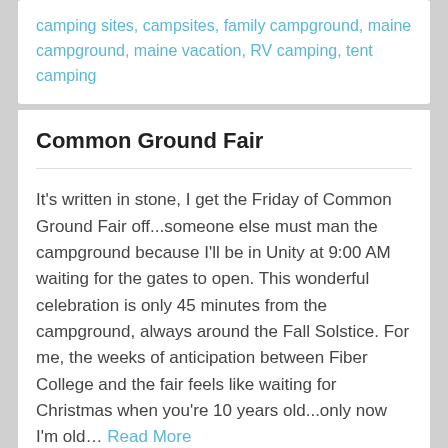camping sites, campsites, family campground, maine campground, maine vacation, RV camping, tent camping
Common Ground Fair
It's written in stone, I get the Friday of Common Ground Fair off...someone else must man the campground because I'll be in Unity at 9:00 AM waiting for the gates to open.  This wonderful celebration is only 45 minutes from the campground, always around the Fall Solstice.  For me, the weeks of anticipation between Fiber College and the fair feels like waiting for Christmas when you're 10 years old...only now I'm old… Read More
Rate this: